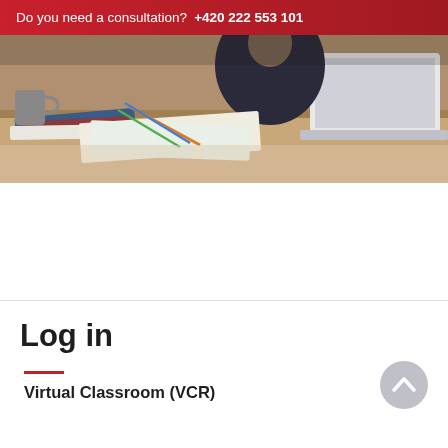Do you need a consultation?  +420 222 553 101
[Figure (photo): Person sitting at a desk with laptop, books, and stationery — office/study scene]
[Figure (other): Back-to-top arrow button (chevron up) on gray circle]
Log in
Virtual Classroom (VCR)